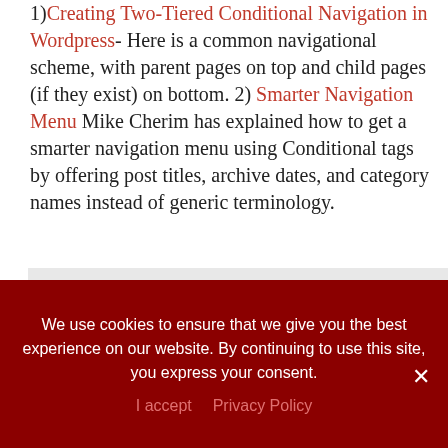1) Creating Two-Tiered Conditional Navigation in Wordpress- Here is a common navigational scheme, with parent pages on top and child pages (if they exist) on bottom. 2) Smarter Navigation Menu Mike Cherim has explained how to get a smarter navigation menu using Conditional tags by offering post titles, archive dates, and category names instead of generic terminology.
<!--Begin an unordered lis
        (so I can have other l
We use cookies to ensure that we give you the best experience on our website. By continuing to use this site, you express your consent.
I accept   Privacy Policy